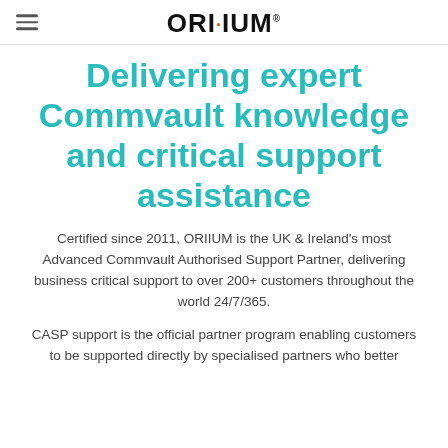ORIIUM
Delivering expert Commvault knowledge and critical support assistance
Certified since 2011, ORIIUM is the UK & Ireland's most Advanced Commvault Authorised Support Partner, delivering business critical support to over 200+ customers throughout the world 24/7/365.
CASP support is the official partner program enabling customers to be supported directly by specialised partners who better